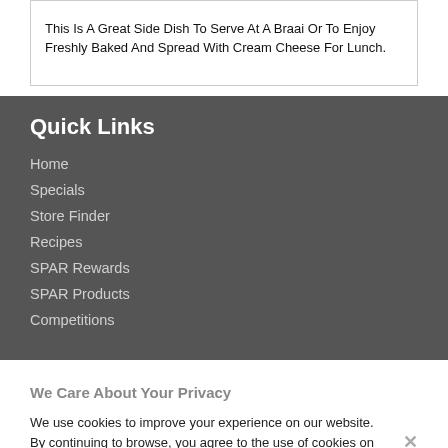This Is A Great Side Dish To Serve At A Braai Or To Enjoy Freshly Baked And Spread With Cream Cheese For Lunch.
Quick Links
Home
Specials
Store Finder
Recipes
SPAR Rewards
SPAR Products
Competitions
We Care About Your Privacy
We use cookies to improve your experience on our website. By continuing to browse, you agree to the use of cookies on our website. To find out more see our cookie policy.